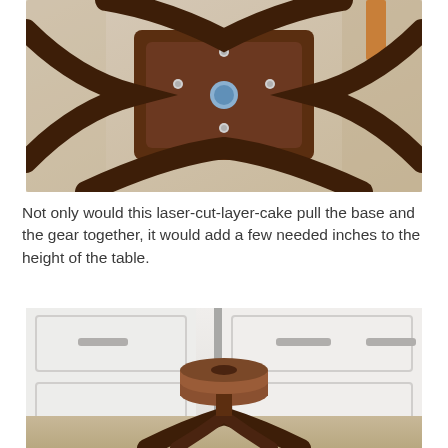[Figure (photo): Top-down view of a dark brown metal stool base with curved legs radiating outward, screws visible, and a central hole, placed on a white cloth surface]
Not only would this laser-cut-layer-cake pull the base and the gear together, it would add a few needed inches to the height of the table.
[Figure (photo): Front view of a dark brown metal stool base with curved legs and a round layered wooden disk placed on top of the central post, against a white door background]